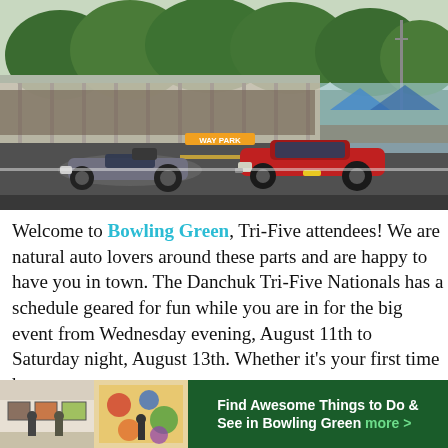[Figure (photo): Two classic 1950s drag racing cars (a silver/black car and a red Chevrolet) racing side by side on a drag strip, with a large crowd of spectators in stands behind them and trees in the background. A covered grandstand structure is visible on the left.]
Welcome to Bowling Green, Tri-Five attendees! We are natural auto lovers around these parts and are happy to have you in town. The Danchuk Tri-Five Nationals has a schedule geared for fun while you are in for the big event from Wednesday evening, August 11th to Saturday night, August 13th. Whether it's your first time he... le BG, we wa... we
[Figure (infographic): Advertisement banner: 'Find Awesome Things to Do & See in Bowling Green more >' on dark green background, with two small photo thumbnails on the left showing an art gallery.]